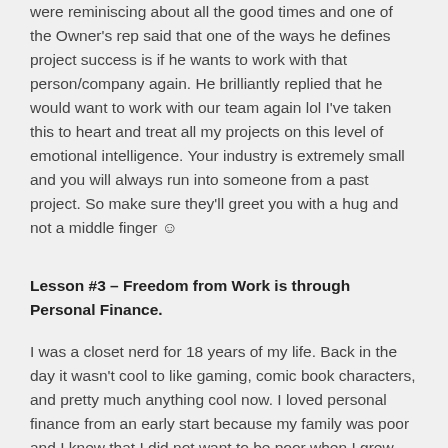were reminiscing about all the good times and one of the Owner's rep said that one of the ways he defines project success is if he wants to work with that person/company again. He brilliantly replied that he would want to work with our team again lol I've taken this to heart and treat all my projects on this level of emotional intelligence. Your industry is extremely small and you will always run into someone from a past project. So make sure they'll greet you with a hug and not a middle finger ☺
Lesson #3 – Freedom from Work is through Personal Finance.
I was a closet nerd for 18 years of my life. Back in the day it wasn't cool to like gaming, comic book characters, and pretty much anything cool now. I loved personal finance from an early start because my family was poor and I knew that I did not want to be poor when I grew up. Spending time in Corporate America took my